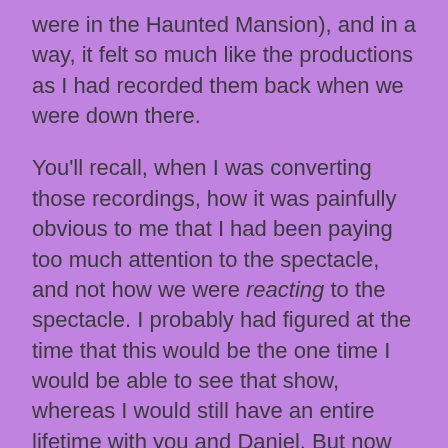were in the Haunted Mansion), and in a way, it felt so much like the productions as I had recorded them back when we were down there.
You'll recall, when I was converting those recordings, how it was painfully obvious to me that I had been paying too much attention to the spectacle, and not how we were reacting to the spectacle. I probably had figured at the time that this would be the one time I would be able to see that show, whereas I would still have an entire lifetime with you and Daniel. But now that you're not here, the show doesn't really matter.
And the reason that, when I got back to the Magic Kingdom and Cinderella's castle, I stood in front of that place for an entire Minecraft day, just because I wanted